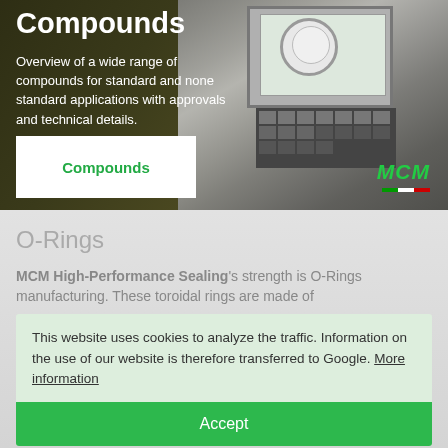Compounds
Overview of a wide range of compounds for standard and none standard applications with approvals and technical details.
[Figure (screenshot): Button labeled 'Compounds' in green text on white background]
[Figure (photo): Industrial machine with computer control panel screen showing gauges and keypad, MCM logo in green italic at bottom right]
O-Rings
MCM High-Performance Sealing's strength is O-Rings manufacturing. These toroidal rings are made of
This website uses cookies to analyze the traffic. Information on the use of our website is therefore transferred to Google. More information
Accept